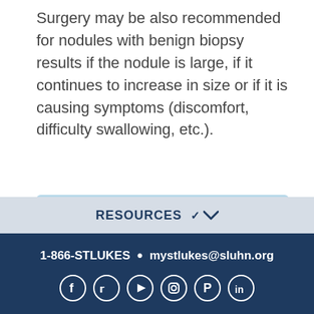Surgery may be also recommended for nodules with benign biopsy results if the nodule is large, if it continues to increase in size or if it is causing symptoms (discomfort, difficulty swallowing, etc.).
[Figure (infographic): Blue calendar icon with clock, next to text 'Make an Appointment' inside a light blue rounded rectangle box.]
RESOURCES ∨
1-866-STLUKES • mystlukes@sluhn.org — social media icons: Facebook, Twitter, YouTube, Instagram, Pinterest, LinkedIn